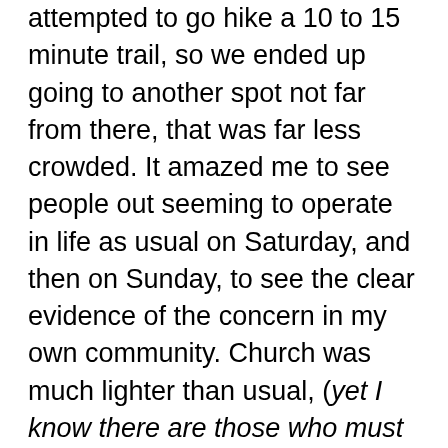attempted to go hike a 10 to 15 minute trail, so we ended up going to another spot not far from there, that was far less crowded. It amazed me to see people out seeming to operate in life as usual on Saturday, and then on Sunday, to see the clear evidence of the concern in my own community. Church was much lighter than usual, (yet I know there are those who must stay home per their doctor's recommendation, and still others who stayed home as they are fighting colds and the like), followed by a trip to the grocery store where we discovered a completely sold out toilet paper isle. May we ever seek the Lord and His Spirit, for in Him we need not fear. He grants us power, wisdom and self-discipline, and